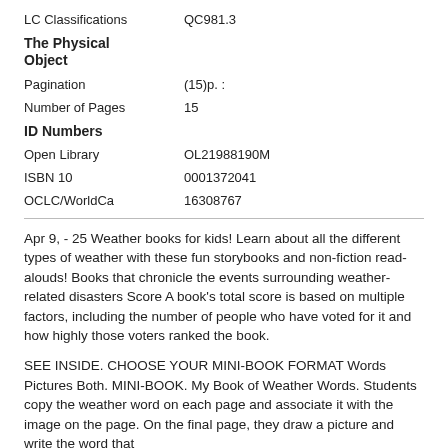| LC Classifications | QC981.3 |
| The Physical Object |  |
| Pagination | (15)p. : |
| Number of Pages | 15 |
| ID Numbers |  |
| Open Library | OL21988190M |
| ISBN 10 | 0001372041 |
| OCLC/WorldCa | 16308767 |
Apr 9, - 25 Weather books for kids! Learn about all the different types of weather with these fun storybooks and non-fiction read-alouds! Books that chronicle the events surrounding weather-related disasters Score A book’s total score is based on multiple factors, including the number of people who have voted for it and how highly those voters ranked the book.
SEE INSIDE. CHOOSE YOUR MINI-BOOK FORMAT Words Pictures Both. MINI-BOOK. My Book of Weather Words. Students copy the weather word on each page and associate it with the image on the page. On the final page, they draw a picture and write the word that